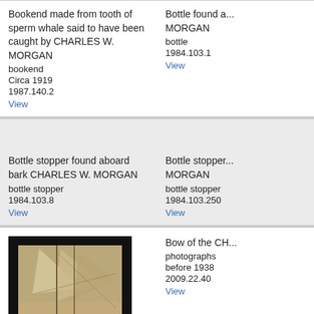Bookend made from tooth of sperm whale said to have been caught by CHARLES W. MORGAN
bookend
Circa 1919
1987.140.2
View
Bottle found a...
MORGAN
bottle
1984.103.1
View
Bottle stopper found aboard bark CHARLES W. MORGAN
bottle stopper
1984.103.8
View
Bottle stopper...
MORGAN
bottle stopper
1984.103.250
View
[Figure (photo): Sepia photograph of the bow of the CHARLES W. MORGAN sailing vessel with sails visible, framed with black border]
Bow of the CH...
photographs
before 1938
2009.22.40
View
Bow of the CHARLES W. MORGAN